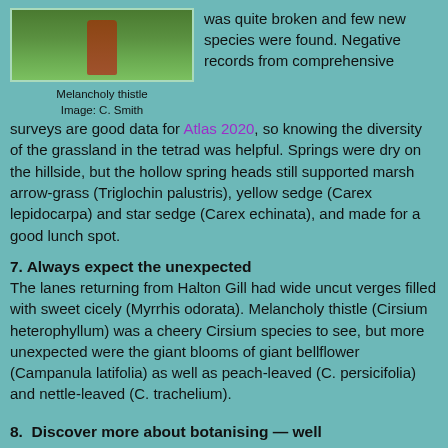[Figure (photo): Photo of a Melancholy thistle plant on a stem with green foliage background]
Melancholy thistle
Image: C. Smith
was quite broken and few new species were found. Negative records from comprehensive surveys are good data for Atlas 2020, so knowing the diversity of the grassland in the tetrad was helpful. Springs were dry on the hillside, but the hollow spring heads still supported marsh arrow-grass (Triglochin palustris), yellow sedge (Carex lepidocarpa) and star sedge (Carex echinata), and made for a good lunch spot.
7. Always expect the unexpected
The lanes returning from Halton Gill had wide uncut verges filled with sweet cicely (Myrrhis odorata). Melancholy thistle (Cirsium heterophyllum) was a cheery Cirsium species to see, but more unexpected were the giant blooms of giant bellflower (Campanula latifolia) as well as peach-leaved (C. persicifolia) and nettle-leaved (C. trachelium).
8.  Discover more about botanising — well